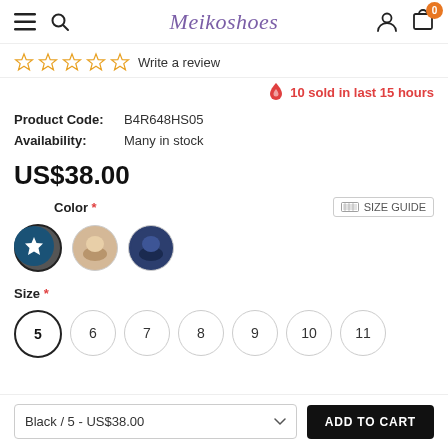Meikoshoes
Write a review
10 sold in last 15 hours
Product Code: B4R648HS05
Availability: Many in stock
US$38.00
Color *
SIZE GUIDE
[Figure (photo): Three circular color swatch thumbnails showing shoe colors: black, beige, and navy]
Size *
5 6 7 8 9 10 11
Black / 5 - US$38.00
ADD TO CART